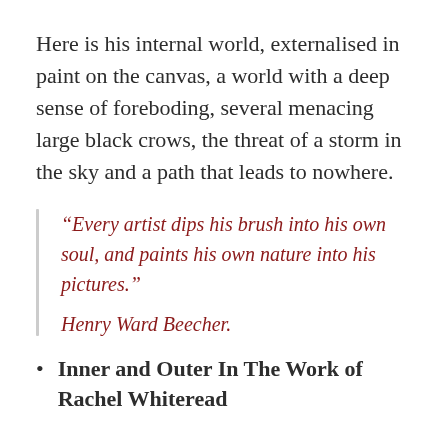Here is his internal world, externalised in paint on the canvas, a world with a deep sense of foreboding, several menacing large black crows, the threat of a storm in the sky and a path that leads to nowhere.
“Every artist dips his brush into his own soul, and paints his own nature into his pictures.”
Henry Ward Beecher.
Inner and Outer In The Work of Rachel Whiteread